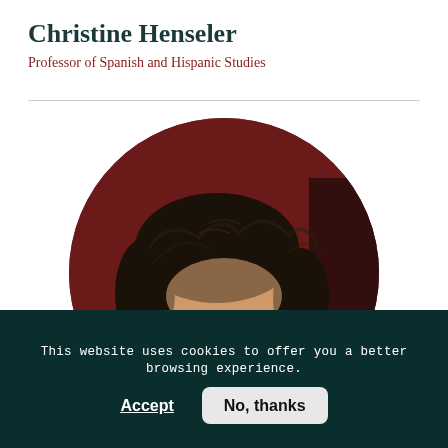Christine Henseler
Professor of Spanish and Hispanic Studies
[Figure (photo): Circular cropped headshot photo of a person with dark hair against a dark red/brown background, showing face and top of shoulders. Photo is clipped to a circle shape.]
This website uses cookies to offer you a better browsing experience.
Accept
No, thanks